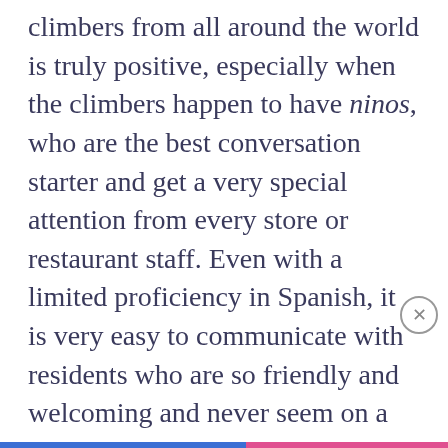climbers from all around the world is truly positive, especially when the climbers happen to have ninos, who are the best conversation starter and get a very special attention from every store or restaurant staff. Even with a limited proficiency in Spanish, it is very easy to communicate with residents who are so friendly and welcoming and never seem on a rush.
Privacy & Cookies: This site uses cookies. By continuing to use this website, you agree to their use.
To find out more, including how to control cookies, see here: Cookie Policy